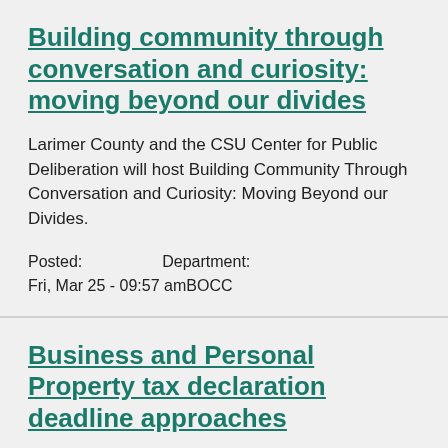Building community through conversation and curiosity: moving beyond our divides
Larimer County and the CSU Center for Public Deliberation will host Building Community Through Conversation and Curiosity: Moving Beyond our Divides.
Posted: Fri, Mar 25 - 09:57 am   Department: BOCC
Business and Personal Property tax declaration deadline approaches
The deadline for business owners to file a Personal Property Declaration with the Larimer